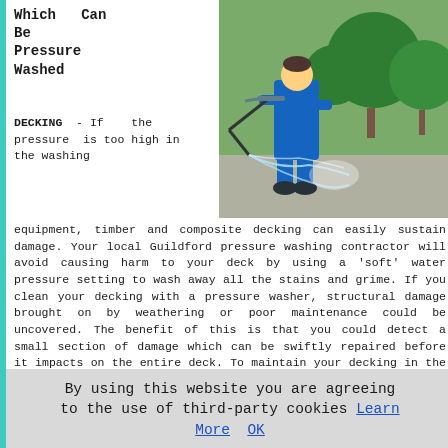Which Can Be Pressure Washed
[Figure (photo): Person in blue overalls pressure washing a garden area with large green topiary bushes in the background, water spraying from the pressure washer wand.]
DECKING - If the pressure is too high in the washing equipment, timber and composite decking can easily sustain damage. Your local Guildford pressure washing contractor will avoid causing harm to your deck by using a 'soft' water pressure setting to wash away all the stains and grime. If you clean your decking with a pressure washer, structural damage brought on by weathering or poor maintenance could be uncovered. The benefit of this is that you could detect a small section of damage which can be swiftly repaired before it impacts on the entire deck. To maintain your decking in the best condition for the future, you can apply a sealant once the pressure washing has been finished, to help protect your deck investment.
By using this website you are agreeing to the use of third-party cookies Learn More OK